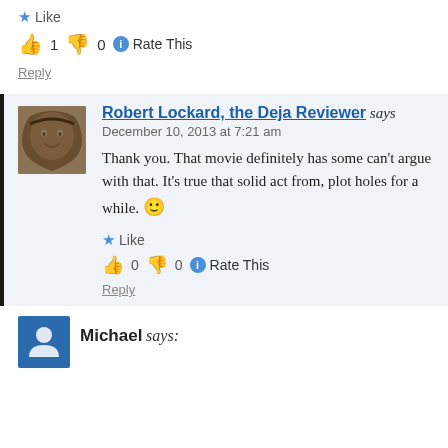★ Like
👍 1 👎 0 ℹ Rate This
Reply
Robert Lockard, the Deja Reviewer says
December 10, 2013 at 7:21 am
Thank you. That movie definitely has some can't argue with that. It's true that solid act from, plot holes for a while. 🙂
★ Like
👍 0 👎 0 ℹ Rate This
Reply
Michael says: